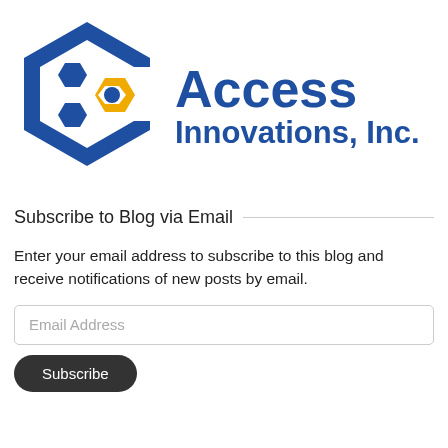[Figure (logo): Access Innovations, Inc. logo — a blue hexagonal C shape with blue and gold honeycomb hexagons inside, next to bold blue text reading 'Access Innovations, Inc.']
Subscribe to Blog via Email
Enter your email address to subscribe to this blog and receive notifications of new posts by email.
Email Address
Subscribe